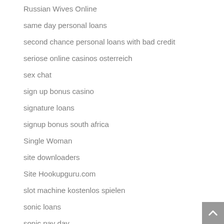Russian Wives Online
same day personal loans
second chance personal loans with bad credit
seriose online casinos osterreich
sex chat
sign up bonus casino
signature loans
signup bonus south africa
Single Woman
site downloaders
Site Hookupguru.com
slot machine kostenlos spielen
sonic loans
sonic pay day
sonic payday loans